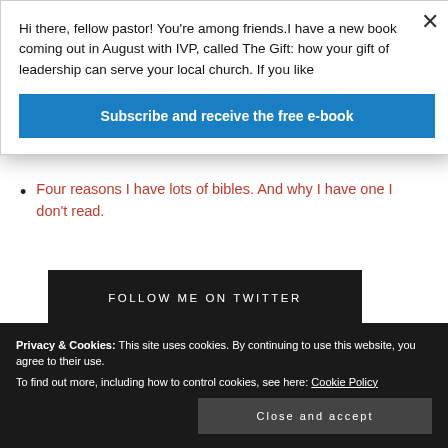Hi there, fellow pastor! You're among friends.I have a new book coming out in August with IVP, called The Gift: how your gift of leadership can serve your local church. If you like
Subscribe and receive the free e-book
Four reasons I have lots of bibles. And why I have one I don't read.
FOLLOW ME ON TWITTER
Privacy & Cookies: This site uses cookies. By continuing to use this website, you agree to their use.
To find out more, including how to control cookies, see here: Cookie Policy
Close and accept
St James Muswell Hill